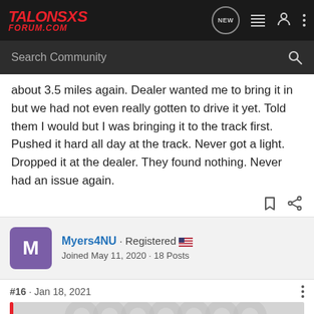TALONSXS FORUM.COM
Search Community
about 3.5 miles again. Dealer wanted me to bring it in but we had not even really gotten to drive it yet. Told them I would but I was bringing it to the track first. Pushed it hard all day at the track. Never got a light. Dropped it at the dealer. They found nothing. Never had an issue again.
Myers4NU · Registered
Joined May 11, 2020 · 18 Posts
#16 · Jan 18, 2021
JMHA